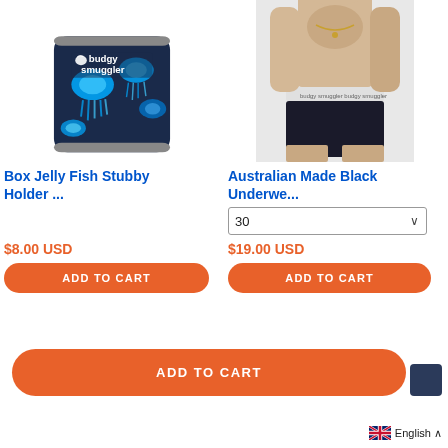[Figure (photo): Navy blue stubby holder with blue jellyfish pattern and 'budgy smuggler' logo]
[Figure (photo): Man wearing black underwear with white 'budgy smuggler' waistband]
Box Jelly Fish Stubby Holder ...
Australian Made Black Underwe...
$8.00 USD
$19.00 USD
ADD TO CART
ADD TO CART
ADD TO CART
English